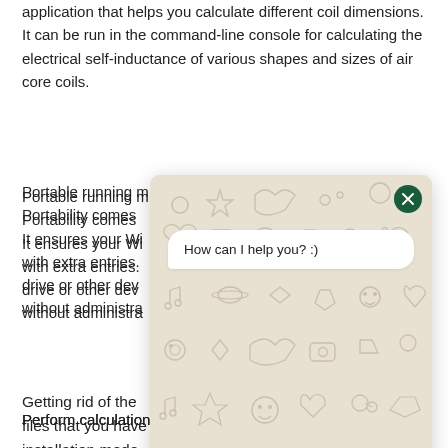application that helps you calculate different coil dimensions. It can be run in the command-line console for calculating the electrical self-inductance of various shapes and sizes of air core coils.
Portable running m... Portability comes... It ensures your Wi... with extra entries... drive or other dev... without administra...
[Figure (screenshot): A chat widget overlay with a beige/tan decorative patterned background showing various doodle icons (stars, hearts, cameras, faces, etc.). The widget has a dark green close button (X) in the top right corner, a white speech bubble saying 'How can I help you? :)', a white input bar at the bottom, and a green send button with a right-pointing arrow.]
Getting rid of the... files that you have... installation mode... system, as you on...
Perform calculations via the command-line console